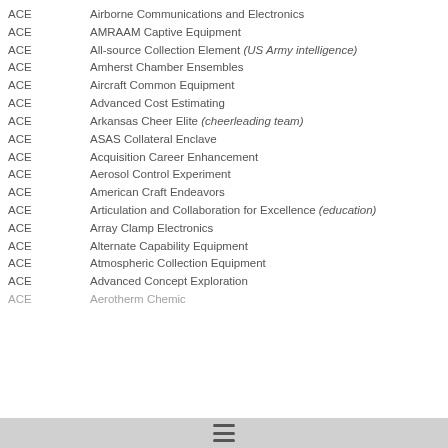ACE - Airborne Communications and Electronics
ACE - AMRAAM Captive Equipment
ACE - All-source Collection Element (US Army intelligence)
ACE - Amherst Chamber Ensembles
ACE - Aircraft Common Equipment
ACE - Advanced Cost Estimating
ACE - Arkansas Cheer Elite (cheerleading team)
ACE - ASAS Collateral Enclave
ACE - Acquisition Career Enhancement
ACE - Aerosol Control Experiment
ACE - American Craft Endeavors
ACE - Articulation and Collaboration for Excellence (education)
ACE - Array Clamp Electronics
ACE - Alternate Capability Equipment
ACE - Atmospheric Collection Equipment
ACE - Advanced Concept Exploration
ACE - Aerotherm Chemical Equilibrium